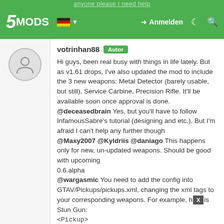anyone please I need help
5MODS | Anmelden
[Figure (screenshot): User avatar circle icon with a person silhouette]
votrinhan88 [Autor]

Hi guys, been real busy with things in life lately. But as v1.61 drops, I've also updated the mod to include the 3 new weapons: Metal Detector (barely usable, but still), Service Carbine, Precision Rifle. It'll be available soon once approval is done.
@deceasedbrain Yes, but you'll have to follow InfamousSabre's tutorial (designing and etc.). But I'm afraid I can't help any further though
@Maxy2007 @Kyldriis @daniago This happens only for new, un-updated weapons. Should be good with upcoming
0.6.alpha
@wargasmic You need to add the config into GTAV/Pickups/pickups.xml, changing the xml tags to your corresponding weapons. For example, here is Stun Gun:
<Pickup>
<DisplayName>Stun Gun</DisplayName> # Your